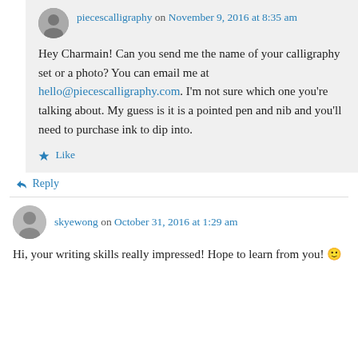piecescalligraphy on November 9, 2016 at 8:35 am
Hey Charmain! Can you send me the name of your calligraphy set or a photo? You can email me at hello@piecescalligraphy.com. I'm not sure which one you're talking about. My guess is it is a pointed pen and nib and you'll need to purchase ink to dip into.
Like
Reply
skyewong on October 31, 2016 at 1:29 am
Hi, your writing skills really impressed! Hope to learn from you! 🙂